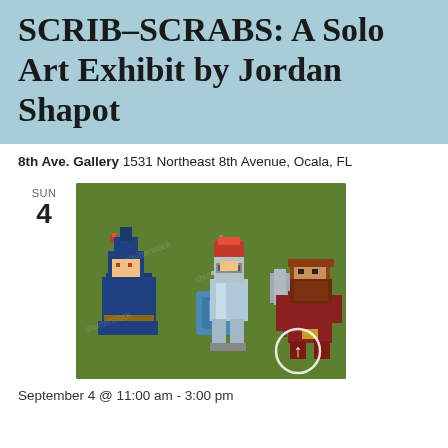SCRIB–SCRABS: A Solo Art Exhibit by Jordan Shapot
8th Ave. Gallery 1531 Northeast 8th Avenue, Ocala, FL
[Figure (illustration): Pixel art illustration on a green background showing three 8-bit style characters: a blue wizard/mage holding a staff, a knight in silver-blue armor holding a sword and shield, and a brown-robed dwarf-like character holding an axe. A white circle with an upward arrow is visible in the lower right corner. The image has a watermark overlay.]
September 4 @ 11:00 am - 3:00 pm